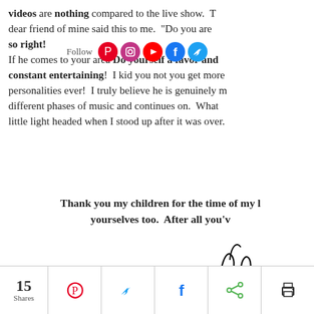videos are nothing compared to the live show. T... dear friend of mine said this to me. "Do you are so right! If he comes to your area Do yourself a favor and constant entertaining! I kid you not you get more... personalities ever! I truly believe he is genuinely m... different phases of music and continues on. What... little light headed when I stood up after it was over.
[Figure (infographic): Social media follow bar with Pinterest, Instagram, YouTube, Facebook, and Twitter icons]
Thank you my children for the time of my l... yourselves too. After all you'v...
[Figure (illustration): Handwritten signature reading 'Hibi...']
15 Shares | Pinterest | Twitter | Facebook | Share | Print